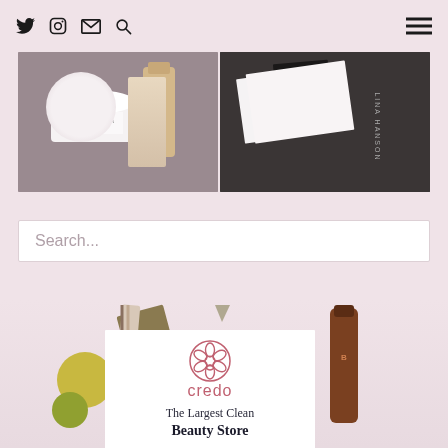Navigation bar with Twitter, Instagram, email, search icons and hamburger menu
[Figure (photo): Two beauty product photos side by side: left showing a white cream jar and amber glass bottle on dark surface, right showing Lina Hanson branded black packaging on dark surface]
Search...
[Figure (infographic): Credo beauty store advertisement card with pink flower logo, brand name 'credo' in pink, and tagline 'The Largest Clean Beauty Store' overlaid on beauty product flatlay background]
The Largest Clean Beauty Store